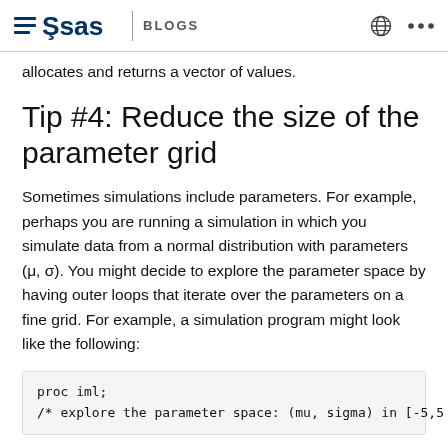SAS BLOGS
allocates and returns a vector of values.
Tip #4: Reduce the size of the parameter grid
Sometimes simulations include parameters. For example, perhaps you are running a simulation in which you simulate data from a normal distribution with parameters (μ, σ). You might decide to explore the parameter space by having outer loops that iterate over the parameters on a fine grid. For example, a simulation program might look like the following:
proc iml;
/* explore the parameter space: (mu, sigma) in [-5,5]